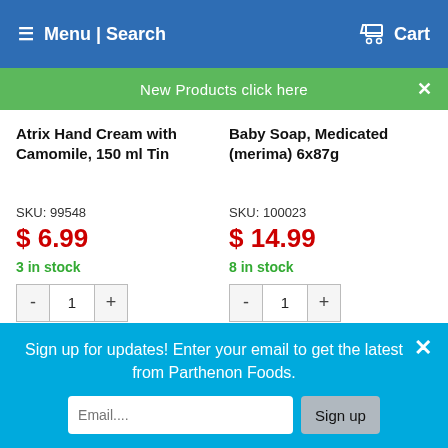Menu | Search   Cart
New Products click here
Atrix Hand Cream with Camomile, 150 ml Tin
Baby Soap, Medicated (merima) 6x87g
SKU: 99548
$ 6.99
3 in stock
SKU: 100023
$ 14.99
8 in stock
Add To Cart
Add To Cart
Sign up for updates! Enter your email to get the latest from Parthenon Foods.
Email....
Sign up